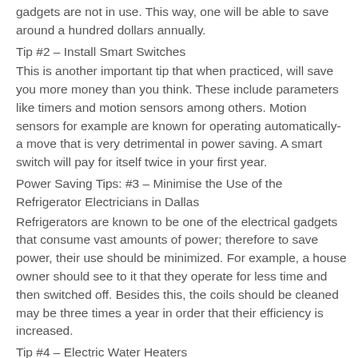gadgets are not in use. This way, one will be able to save around a hundred dollars annually.
Tip #2 – Install Smart Switches
This is another important tip that when practiced, will save you more money than you think. These include parameters like timers and motion sensors among others. Motion sensors for example are known for operating automatically- a move that is very detrimental in power saving. A smart switch will pay for itself twice in your first year.
Power Saving Tips: #3 – Minimise the Use of the Refrigerator Electricians in Dallas
Refrigerators are known to be one of the electrical gadgets that consume vast amounts of power; therefore to save power, their use should be minimized. For example, a house owner should see to it that they operate for less time and then switched off. Besides this, the coils should be cleaned may be three times a year in order that their efficiency is increased.
Tip #4 – Electric Water Heaters